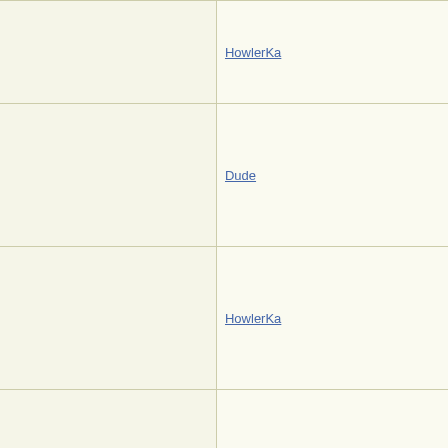| Subject | Author |
| --- | --- |
| Re: Not-really-brag-so-much-as-quirky-anecdote thread | HowlerKa |
| Re: Not-really-brag-so-much-as-quirky-anecdote thread | Dude |
| Re: Not-really-brag-so-much-as-quirky-anecdote thread | HowlerKa |
| Re: Not-really-brag-so-much-as-quirky-anecdote thread | KJP |
| Re: Not-really-brag-so-much-as-quirky-anecdote thread | Cookie |
| Re: Not-really-brag-so-much-as-quirky-anecdote thread | aquinas |
| Re: Not-really-brag-so-much-as-quirky-anecdote thread | KJP |